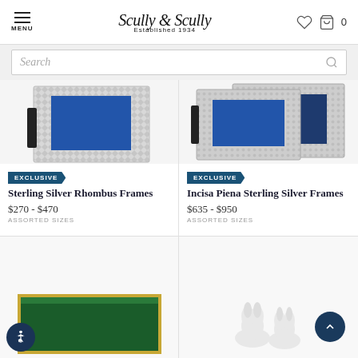MENU | Scully & Scully | Established 1934 | 0
Search
[Figure (photo): Sterling Silver Rhombus picture frame with blue mat, white diamond-textured silver frame]
EXCLUSIVE
Sterling Silver Rhombus Frames
$270 - $470
ASSORTED SIZES
[Figure (photo): Incisa Piena Sterling Silver Frames - two silver frames with blue mats, hammered/engraved pattern]
EXCLUSIVE
Incisa Piena Sterling Silver Frames
$635 - $950
ASSORTED SIZES
[Figure (photo): Green and gold decorative box/tray partially visible at bottom left]
[Figure (photo): White ceramic rabbit figurines partially visible at bottom right]